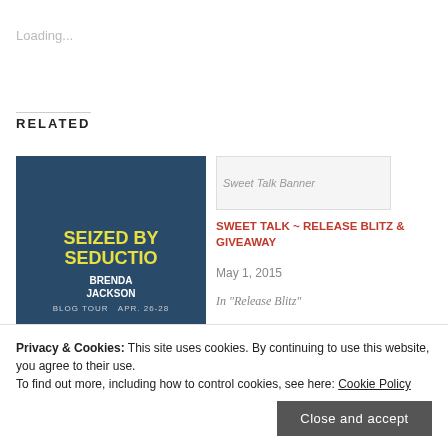Loading...
RELATED
[Figure (illustration): Book cover image for 'Seized by Seduction' by Brenda Jackson - Blog Tour Apr 26-28, dark blue background with yellow title text]
Sweet Talk Banner (image placeholder)
SWEET TALK ~ RELEASE BLITZ & GIVEAWAY
May 1, 2015
In "Release Blitz"
SEIZED BY SEDUCTION BY BRENDA JACKSON ~ BLOG
Privacy & Cookies: This site uses cookies. By continuing to use this website, you agree to their use.
To find out more, including how to control cookies, see here: Cookie Policy
Close and accept